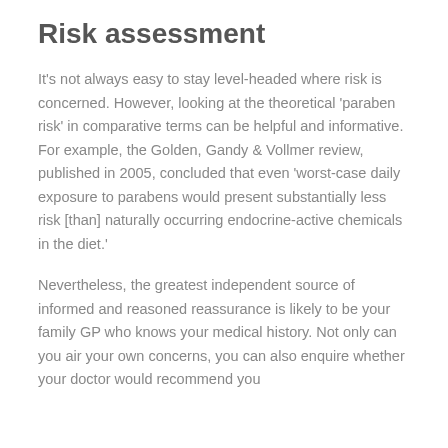Risk assessment
It's not always easy to stay level-headed where risk is concerned. However, looking at the theoretical 'paraben risk' in comparative terms can be helpful and informative. For example, the Golden, Gandy & Vollmer review, published in 2005, concluded that even 'worst-case daily exposure to parabens would present substantially less risk [than] naturally occurring endocrine-active chemicals in the diet.'
Nevertheless, the greatest independent source of informed and reasoned reassurance is likely to be your family GP who knows your medical history. Not only can you air your own concerns, you can also enquire whether your doctor would recommend you adopting a paraben-free lifestyle and how that might affect product choice.